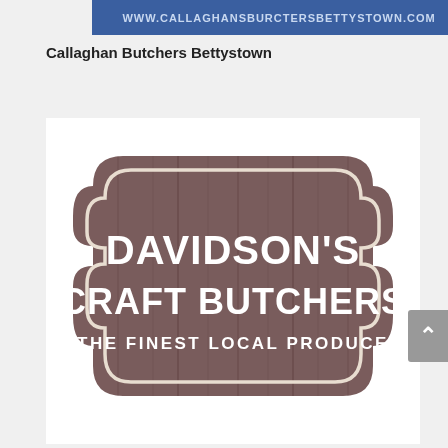[Figure (logo): Blue banner with white URL text: WWW.CALLAGHANSBURCTERSBETTYSTOWN.COM]
Callaghan Butchers Bettystown
[Figure (logo): Davidson's Craft Butchers logo — wooden sign shaped badge with text: DAVIDSON'S CRAFT BUTCHERS THE FINEST LOCAL PRODUCE]